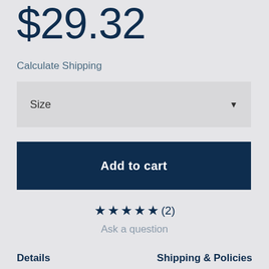$29.32
Calculate Shipping
Size
Add to cart
★★★★★(2)
Ask a question
Details
Shipping & Policies